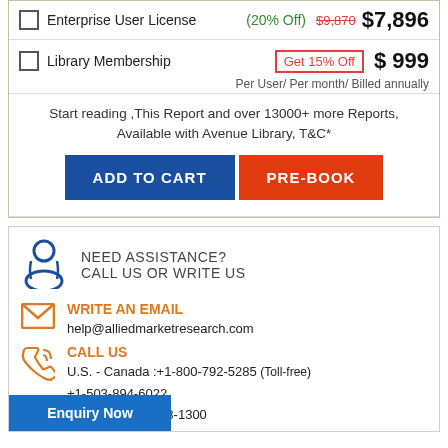| Product | Discount | Price |
| --- | --- | --- |
| Enterprise User License | (20% Off) | $7,896 |
| Library Membership | Get 15% Off | $ 999 |
Per User/ Per month/ Billed annually
Start reading ,This Report and over 13000+ more Reports, Available with Avenue Library, T&C*
ADD TO CART
PRE-BOOK
NEED ASSISTANCE?
CALL US OR WRITE US
WRITE AN EMAIL
help@alliedmarketresearch.com
CALL US
U.S. - Canada :+1-800-792-5285 (Toll-free)
+1-503-894-6022
UK : + 44-845-528-1300
Enquiry Now